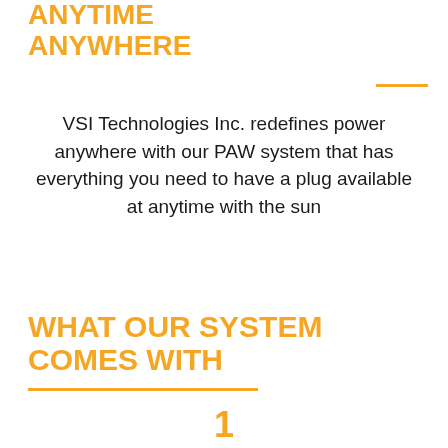ANYTIME ANYWHERE
VSI Technologies Inc. redefines power anywhere with our PAW system that has everything you need to have a plug available at anytime with the sun
WHAT OUR SYSTEM COMES WITH
1